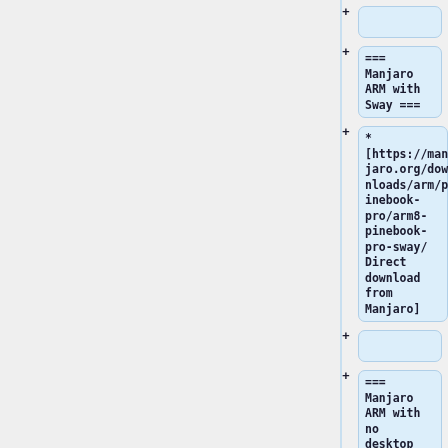+
=== Manjaro ARM with Sway ===
* [https://manjaro.org/downloads/arm/pinebook-pro/arm8-pinebook-pro-sway/ Direct download from Manjaro]
+
=== Manjaro ARM with no desktop ===